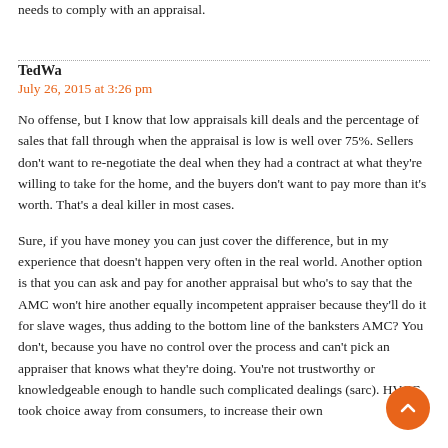needs to comply with an appraisal.
TedWa
July 26, 2015 at 3:26 pm
No offense, but I know that low appraisals kill deals and the percentage of sales that fall through when the appraisal is low is well over 75%. Sellers don't want to re-negotiate the deal when they had a contract at what they're willing to take for the home, and the buyers don't want to pay more than it's worth. That's a deal killer in most cases.
Sure, if you have money you can just cover the difference, but in my experience that doesn't happen very often in the real world. Another option is that you can ask and pay for another appraisal but who's to say that the AMC won't hire another equally incompetent appraiser because they'll do it for slave wages, thus adding to the bottom line of the banksters AMC? You don't, because you have no control over the process and can't pick an appraiser that knows what they're doing. You're not trustworthy or knowledgeable enough to handle such complicated dealings (sarc). HVCC took choice away from consumers, to increase their own